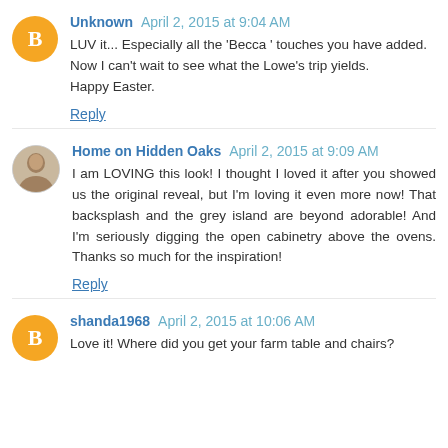Unknown April 2, 2015 at 9:04 AM
LUV it... Especially all the 'Becca ' touches you have added.
Now I can't wait to see what the Lowe's trip yields.
Happy Easter.
Reply
Home on Hidden Oaks April 2, 2015 at 9:09 AM
I am LOVING this look! I thought I loved it after you showed us the original reveal, but I'm loving it even more now! That backsplash and the grey island are beyond adorable! And I'm seriously digging the open cabinetry above the ovens. Thanks so much for the inspiration!
Reply
shanda1968 April 2, 2015 at 10:06 AM
Love it! Where did you get your farm table and chairs?